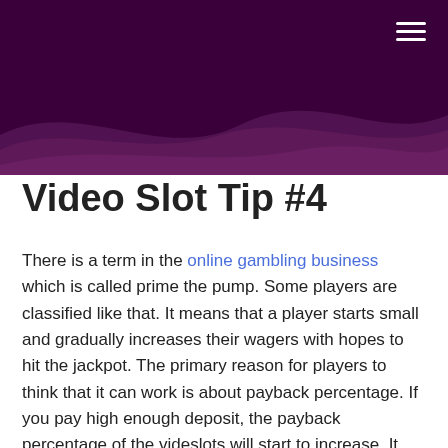≡
Video Slot Tip #4
There is a term in the online gambling business which is called prime the pump. Some players are classified like that. It means that a player starts small and gradually increases their wagers with hopes to hit the jackpot. The primary reason for players to think that it can work is about payback percentage. If you pay high enough deposit, the payback percentage of the videslots will start to increase. It happens on almost every slot game, and players who experienced this created this method for increasing their chances. Keep in mind that, placing the same bets without increasing the money on paylines would not work for you while utilizing this method.